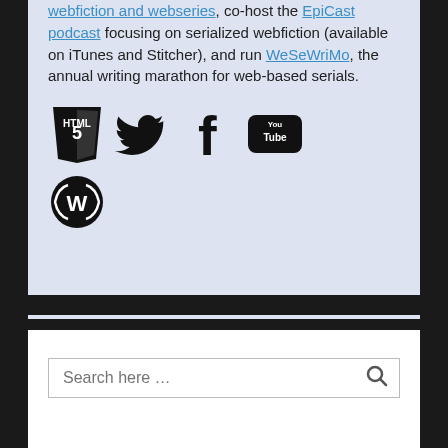webfiction and webseries, co-host the EpiCast podcast focusing on serialized webfiction (available on iTunes and Stitcher), and run WeSeWriMo, the annual writing marathon for web-based serials.
[Figure (infographic): Row of social media/platform icons: HTML5 shield logo, Twitter bird, Facebook F, YouTube logo, WordPress logo]
Search here …